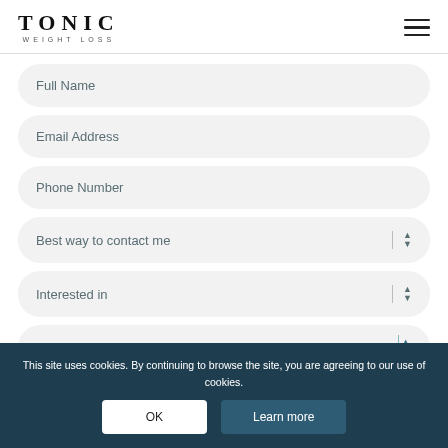TONIC WEIGHT LOSS
Full Name
Email Address
Phone Number
Best way to contact me
Interested in
Preferred location
How can we help you?
This site uses cookies. By continuing to browse the site, you are agreeing to our use of cookies.
OK
Learn more